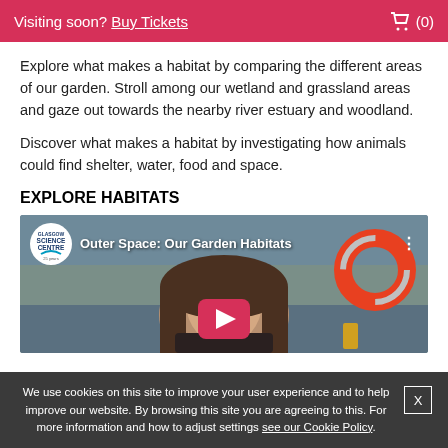Visiting soon? Buy Tickets  (0)
Explore what makes a habitat by comparing the different areas of our garden. Stroll among our wetland and grassland areas and gaze out towards the nearby river estuary and woodland.
Discover what makes a habitat by investigating how animals could find shelter, water, food and space.
EXPLORE HABITATS
[Figure (screenshot): YouTube video thumbnail titled 'Outer Space: Our Garden Habitats' showing a young woman near water with a life ring, with a red play button overlay and Science Centre logo]
We use cookies on this site to improve your user experience and to help improve our website. By browsing this site you are agreeing to this. For more information and how to adjust settings see our Cookie Policy.